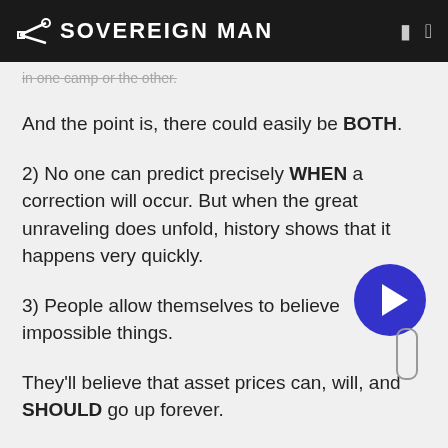SOVEREIGN MAN
in one camp or the other.
And the point is, there could easily be BOTH.
2) No one can predict precisely WHEN a correction will occur. But when the great unraveling does unfold, history shows that it happens very quickly.
3) People allow themselves to believe impossible things.
They'll believe that asset prices can, will, and SHOULD go up forever.